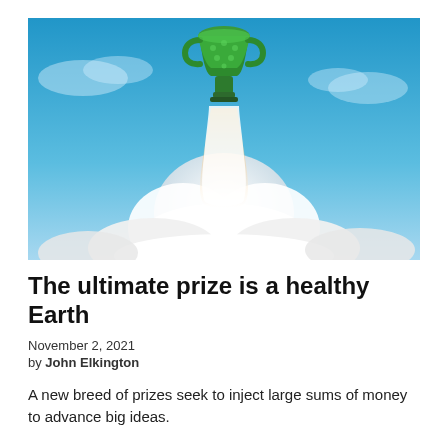[Figure (photo): A green leafy trophy cup launching like a rocket into a blue sky, propelled by a large plume of white smoke and clouds below it.]
The ultimate prize is a healthy Earth
November 2, 2021
by John Elkington
A new breed of prizes seek to inject large sums of money to advance big ideas.